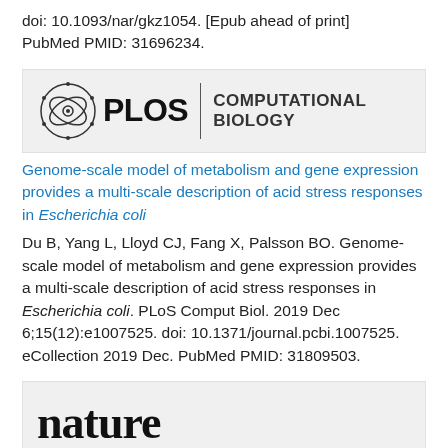doi: 10.1093/nar/gkz1054. [Epub ahead of print] PubMed PMID: 31696234.
[Figure (logo): PLOS Computational Biology journal logo with circular graphic and text]
Genome-scale model of metabolism and gene expression provides a multi-scale description of acid stress responses in Escherichia coli
Du B, Yang L, Lloyd CJ, Fang X, Palsson BO. Genome-scale model of metabolism and gene expression provides a multi-scale description of acid stress responses in Escherichia coli. PLoS Comput Biol. 2019 Dec 6;15(12):e1007525. doi: 10.1371/journal.pcbi.1007525. eCollection 2019 Dec. PubMed PMID: 31809503.
[Figure (logo): Nature journal logo in bold serif font]